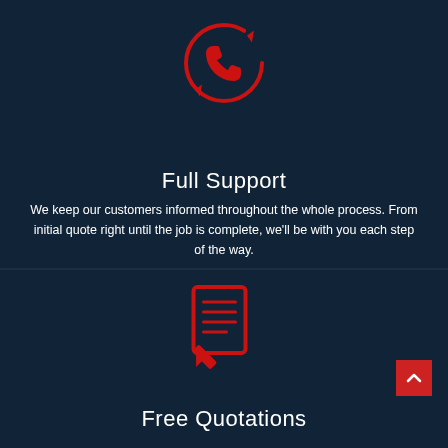[Figure (illustration): Red circular arrows/refresh icon with a phone handset inside, representing full support callback]
Full Support
We keep our customers informed throughout the whole process. From initial quote right until the job is complete, we'll be with you each step of the way.
[Figure (illustration): Red document/notepad with pencil icon representing free quotations]
Free Quotations